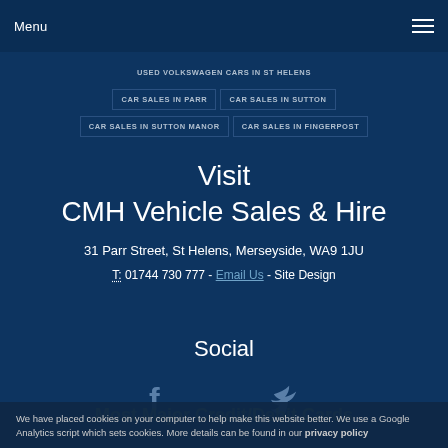Menu
USED VOLKSWAGEN CARS IN ST HELENS
CAR SALES IN PARR | CAR SALES IN SUTTON
CAR SALES IN SUTTON MANOR | CAR SALES IN FINGERPOST
Visit CMH Vehicle Sales & Hire
31 Parr Street, St Helens, Merseyside, WA9 1JU
T: 01744 730 777 - Email Us - Site Design
Social
[Figure (illustration): Facebook and Twitter social media icons]
We have placed cookies on your computer to help make this website better. We use a Google Analytics script which sets cookies. More details can be found in our privacy policy
Most Major Credit/Debit Cards